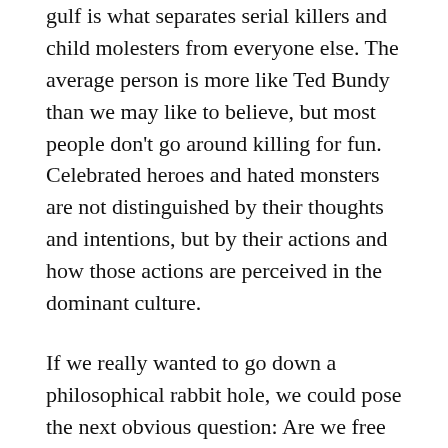gulf is what separates serial killers and child molesters from everyone else. The average person is more like Ted Bundy than we may like to believe, but most people don't go around killing for fun. Celebrated heroes and hated monsters are not distinguished by their thoughts and intentions, but by their actions and how those actions are perceived in the dominant culture.
If we really wanted to go down a philosophical rabbit hole, we could pose the next obvious question: Are we free to choose? Are our desires random or selected by various factors beyond our control? Who or what is really responsible for what we do?
That rabbit hole would take us to core questions about what we accept as the human experience.